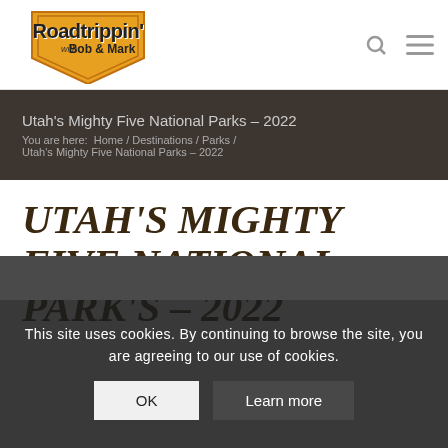[Figure (logo): Roadtrippin' with Bob & Mark logo — badge-shaped orange shield with stylized text]
Utah's Mighty Five National Parks – 2022
You are here:  Home / Destinations / Parks /
Utah's Mighty Five National Parks – 2022
UTAH'S MIGHTY FIVE NATIONAL PARK'S – 2022
This site uses cookies. By continuing to browse the site, you are agreeing to our use of cookies.
OK
Learn more